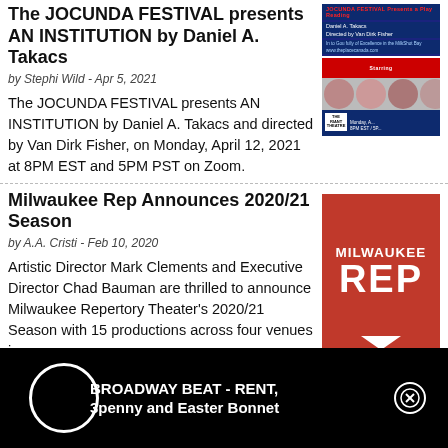The JOCUNDA FESTIVAL presents AN INSTITUTION by Daniel A. Takacs
by Stephi Wild - Apr 5, 2021
The JOCUNDA FESTIVAL presents AN INSTITUTION by Daniel A. Takacs and directed by Van Dirk Fisher, on Monday, April 12, 2021 at 8PM EST and 5PM PST on Zoom.
[Figure (photo): Jocunda Festival promotional event image with cast photos and blue banner]
Milwaukee Rep Announces 2020/21 Season
by A.A. Cristi - Feb 10, 2020
Artistic Director Mark Clements and Executive Director Chad Bauman are thrilled to announce Milwaukee Repertory Theater's 2020/21 Season with 15 productions across four venues in
[Figure (logo): Milwaukee Rep logo - red background with MILWAUKEE REP text in white bold lettering]
BROADWAY BEAT - RENT, 3penny and Easter Bonnet